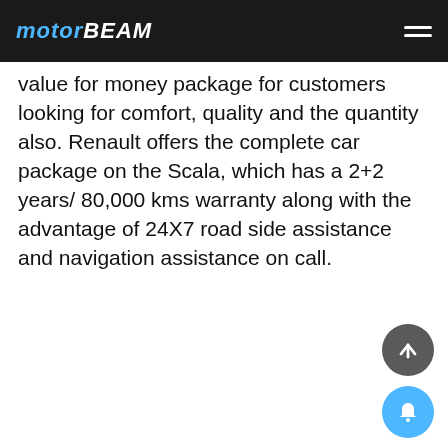MOTORBEAM
value for money package for customers looking for comfort, quality and the quantity also. Renault offers the complete car package on the Scala, which has a 2+2 years/ 80,000 kms warranty along with the advantage of 24X7 road side assistance and navigation assistance on call.